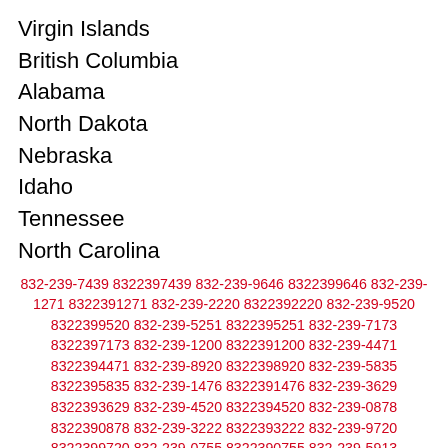Virgin Islands
British Columbia
Alabama
North Dakota
Nebraska
Idaho
Tennessee
North Carolina
832-239-7439 8322397439 832-239-9646 8322399646 832-239-1271 8322391271 832-239-2220 8322392220 832-239-9520 8322399520 832-239-5251 8322395251 832-239-7173 8322397173 832-239-1200 8322391200 832-239-4471 8322394471 832-239-8920 8322398920 832-239-5835 8322395835 832-239-1476 8322391476 832-239-3629 8322393629 832-239-4520 8322394520 832-239-0878 8322390878 832-239-3222 8322393222 832-239-9720 8322399720 832-239-0755 8322390755 832-239-5913 8322395913 832-239-0785 8322390785 832-239-6817